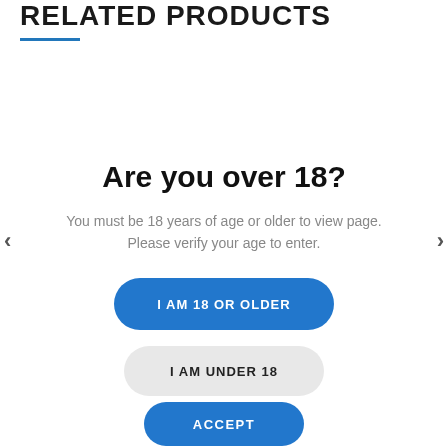RELATED PRODUCTS
Are you over 18?
You must be 18 years of age or older to view page. Please verify your age to enter.
I AM 18 OR OLDER
I AM UNDER 18
ACCEPT